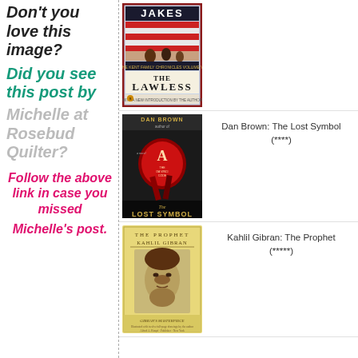Don't you love this image?
Did you see this post by
Michelle at Rosebud Quilter?
Follow the above link in case you missed
Michelle's post.
[Figure (photo): Book cover: The Lawless by John Jakes]
Dan Brown: The Lost Symbol
(****)
[Figure (photo): Book cover: The Lost Symbol by Dan Brown]
Kahlil Gibran: The Prophet
(*****)
[Figure (photo): Book cover: The Prophet by Kahlil Gibran]